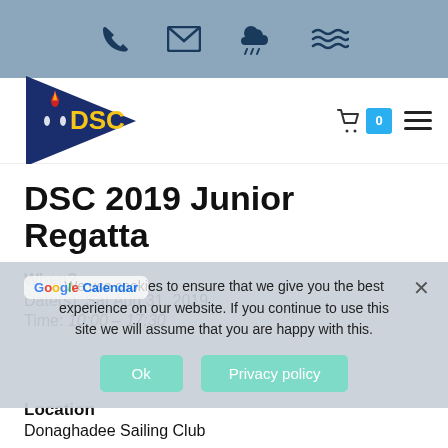Top navigation bar with phone, email, weather, and waves icons
[Figure (logo): DSC sailing club pennant logo — dark blue triangle with yellow DSC text and seahorse emblem]
DSC 2019 Junior Regatta
When?
Date(s): Sat Aug 31, 2019
Time: 10:00 – 17:30
We use cookies to ensure that we give you the best experience on our website. If you continue to use this site we will assume that you are happy with this.
Ok | Privacy policy
Location
Donaghadee Sailing Club